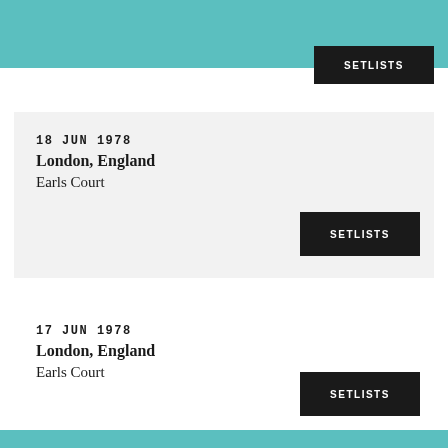SETLISTS
18 JUN 1978
London, England
Earls Court
SETLISTS
17 JUN 1978
London, England
Earls Court
SETLISTS